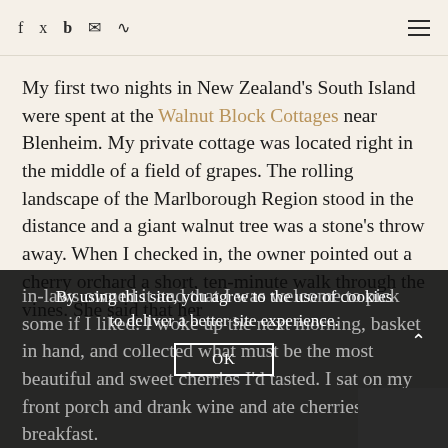Social icons: f, twitter, b, email, rss; hamburger menu
My first two nights in New Zealand's South Island were spent at the Walnut Block Cottages near Blenheim. My private cottage was located right in the middle of a field of grapes. The rolling landscape of the Marlborough Region stood in the distance and a giant walnut tree was a stone's throw away. When I checked in, the owner pointed out a cherry orchard a short, ten-minute walk through the vines. She said that her in-laws owned it and that I was welcome to pick some if I liked. I woke up the next morning, basket in hand, and collected what must be the most beautiful and sweet cherries I'd tasted. I sat on my front porch and drank wine and ate cherries for breakfast.
By using this site, you agree to the use of cookies to deliver a better site experience.
OK